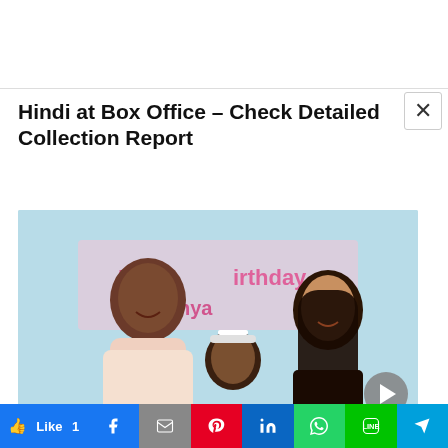Hindi at Box Office – Check Detailed Collection Report
[Figure (photo): Family photo of Abhishek Bachchan, young girl with headband, and Aishwarya Rai Bachchan at a birthday party with pink decorations in background]
Aaradhya Bachchan's Hindi speech from
Like 1 | Facebook | Gmail | Pinterest | LinkedIn | WhatsApp | Line | Send